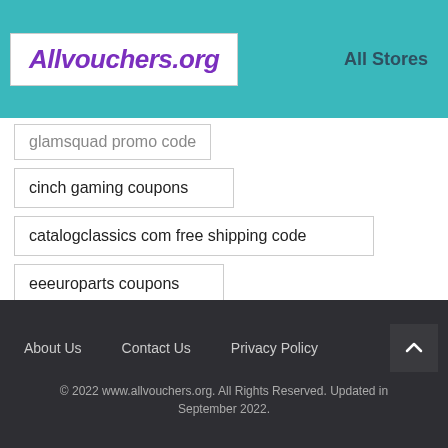Allvouchers.org | All Stores
glamsquad promo code
cinch gaming coupons
catalogclassics com free shipping code
eeeuroparts coupons
About Us   Contact Us   Privacy Policy
© 2022 www.allvouchers.org. All Rights Reserved. Updated in September 2022.